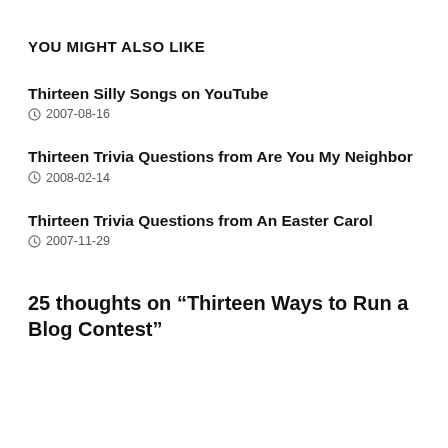YOU MIGHT ALSO LIKE
Thirteen Silly Songs on YouTube
2007-08-16
Thirteen Trivia Questions from Are You My Neighbor
2008-02-14
Thirteen Trivia Questions from An Easter Carol
2007-11-29
25 thoughts on “Thirteen Ways to Run a Blog Contest”